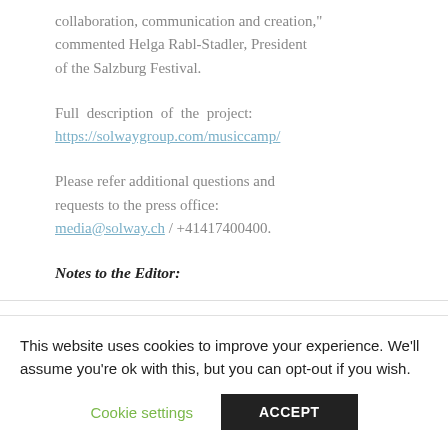collaboration, communication and creation," commented Helga Rabl-Stadler, President of the Salzburg Festival.
Full description of the project: https://solwaygroup.com/musiccamp/
Please refer additional questions and requests to the press office: media@solway.ch / +41417400400.
Notes to the Editor:
This website uses cookies to improve your experience. We'll assume you're ok with this, but you can opt-out if you wish.
Cookie settings   ACCEPT